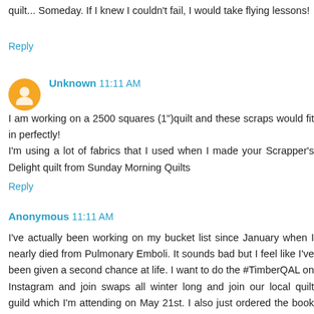quilt... Someday. If I knew I couldn't fail, I would take flying lessons!
Reply
Unknown 11:11 AM
I am working on a 2500 squares (1")quilt and these scraps would fit in perfectly!
I'm using a lot of fabrics that I used when I made your Scrapper's Delight quilt from Sunday Morning Quilts
Reply
Anonymous 11:11 AM
I've actually been working on my bucket list since January when I nearly died from Pulmonary Emboli. It sounds bad but I feel like I've been given a second chance at life. I want to do the #TimberQAL on Instagram and join swaps all winter long and join our local quilt guild which I'm attending on May 21st. I also just ordered the book and paper pieces for...